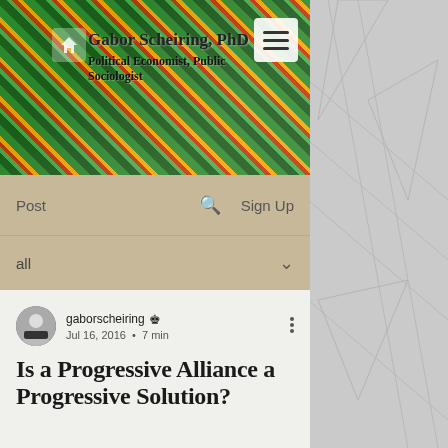Gabor Scheiring, PhD
Political Economist, Public Sociologist
Post   Sign Up
all
gaborscheiring  Jul 16, 2016  •  7 min
Is a Progressive Alliance a Progressive Solution?